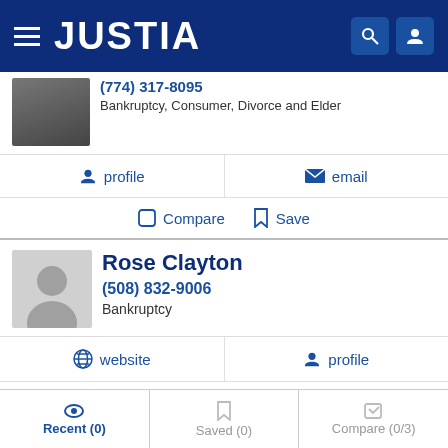JUSTIA
(774) 317-8095
Bankruptcy, Consumer, Divorce and Elder
profile  |  email
Compare  Save
Rose Clayton
(508) 832-9006
Bankruptcy
website  |  profile
Compare  Save
Recent (0)  Saved (0)  Compare (0/3)